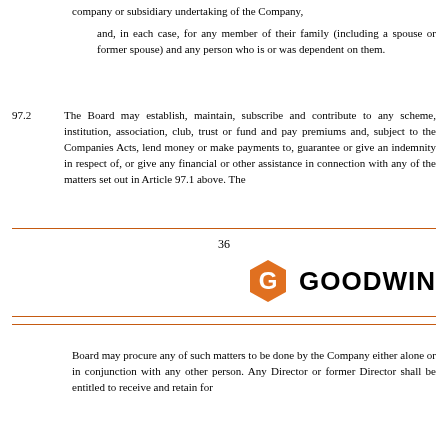company or subsidiary undertaking of the Company,
and, in each case, for any member of their family (including a spouse or former spouse) and any person who is or was dependent on them.
97.2  The Board may establish, maintain, subscribe and contribute to any scheme, institution, association, club, trust or fund and pay premiums and, subject to the Companies Acts, lend money or make payments to, guarantee or give an indemnity in respect of, or give any financial or other assistance in connection with any of the matters set out in Article 97.1 above. The
36
[Figure (logo): Goodwin law firm logo: orange hexagon G icon followed by GOODWIN in bold black text]
Board may procure any of such matters to be done by the Company either alone or in conjunction with any other person. Any Director or former Director shall be entitled to receive and retain for